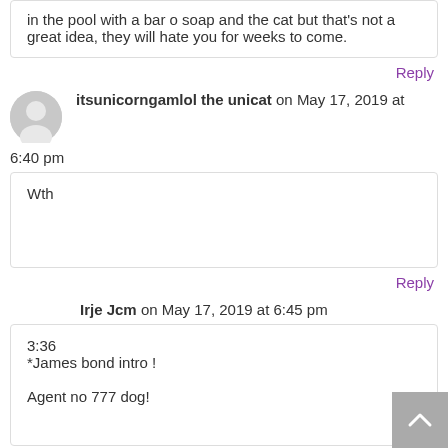in the pool with a bar o soap and the cat but that's not a great idea, they will hate you for weeks to come.
Reply
itsunicorngamlol the unicat on May 17, 2019 at 6:40 pm
Wth
Reply
Irje Jcm on May 17, 2019 at 6:45 pm
3:36
*James bond intro !

Agent no 777 dog!